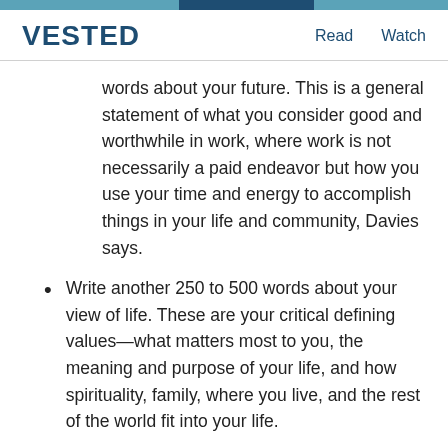VESTED   Read   Watch
words about your future. This is a general statement of what you consider good and worthwhile in work, where work is not necessarily a paid endeavor but how you use your time and energy to accomplish things in your life and community, Davies says.
Write another 250 to 500 words about your view of life. These are your critical defining values—what matters most to you, the meaning and purpose of your life, and how spirituality, family, where you live, and the rest of the world fit into your life.
Review your statements and see where one mirrors or complements the other and